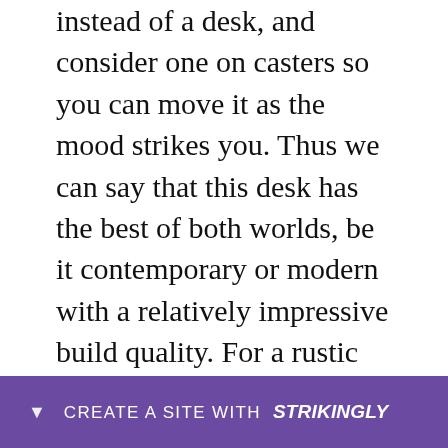instead of a desk, and consider one on casters so you can move it as the mood strikes you. Thus we can say that this desk has the best of both worlds, be it contemporary or modern with a relatively impressive build quality. For a rustic French Country style, you could choose a ‘Goliath desk oak top table for your PC, which has an oiled oak finish and comes with two drawers and holes for your cables. Perfect for a home office or study, the Epica Desk brings a sense of simplicity to your workspace with its clean lines and a timeless character style that would complement any office
CREATE A SITE WITH strikingly